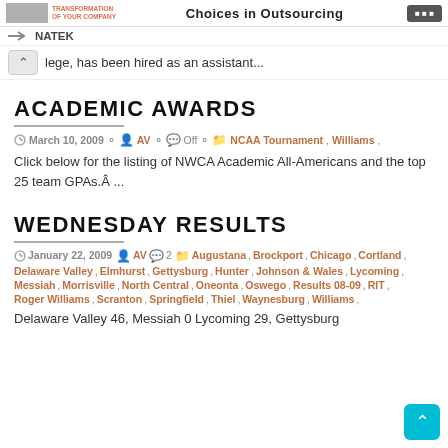Choices in Outsourcing | NATEK
lege, has been hired as an assistant...
ACADEMIC AWARDS
March 10, 2009  AV  Off  NCAA Tournament, Williams,
Click below for the listing of NWCA Academic All-Americans and the top 25 team GPAs.Â ...
WEDNESDAY RESULTS
January 22, 2009  AV  2  Augustana, Brockport, Chicago, Cortland, Delaware Valley, Elmhurst, Gettysburg, Hunter, Johnson & Wales, Lycoming, Messiah, Morrisville, North Central, Oneonta, Oswego, Results 08-09, RIT, Roger Williams, Scranton, Springfield, Thiel, Waynesburg, Williams,
Delaware Valley 46, Messiah 0 Lycoming 29, Gettysburg